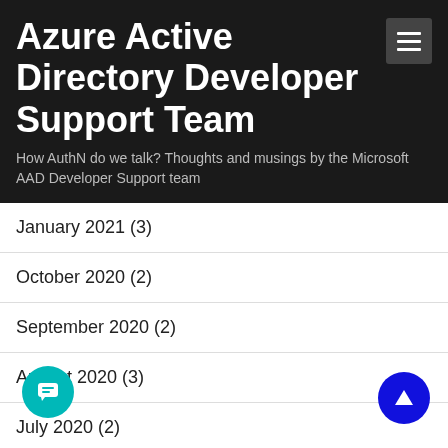Azure Active Directory Developer Support Team
How AuthN do we talk? Thoughts and musings by the Microsoft AAD Developer Support team
January 2021 (3)
October 2020 (2)
September 2020 (2)
August 2020 (3)
July 2020 (2)
June 2020 (4)
May 2020 (2)
April 2020 (6)
March 2020 (1)